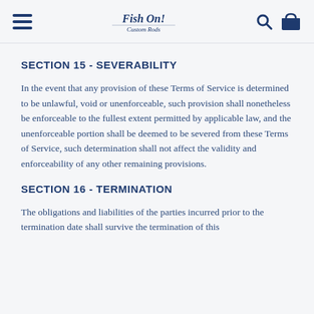Fish On! Custom Rods [logo with hamburger menu, search icon, bag icon]
SECTION 15 - SEVERABILITY
In the event that any provision of these Terms of Service is determined to be unlawful, void or unenforceable, such provision shall nonetheless be enforceable to the fullest extent permitted by applicable law, and the unenforceable portion shall be deemed to be severed from these Terms of Service, such determination shall not affect the validity and enforceability of any other remaining provisions.
SECTION 16 - TERMINATION
The obligations and liabilities of the parties incurred prior to the termination date shall survive the termination of this